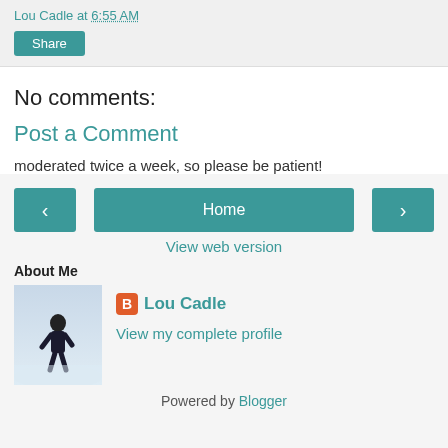Lou Cadle at 6:55 AM
Share
No comments:
Post a Comment
moderated twice a week, so please be patient!
< Home >
View web version
About Me
[Figure (photo): Person in winter gear walking in snow]
Lou Cadle
View my complete profile
Powered by Blogger